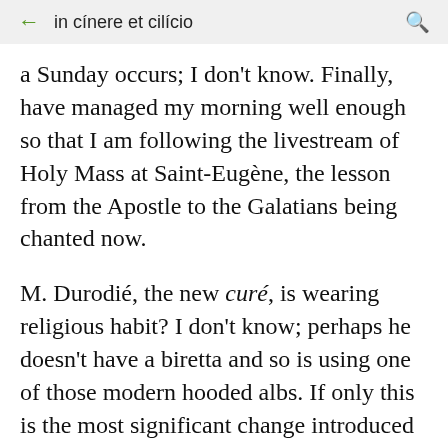in cínere et cilício
a Sunday occurs; I don't know. Finally, have managed my morning well enough so that I am following the livestream of Holy Mass at Saint-Eugène, the lesson from the Apostle to the Galatians being chanted now.
M. Durodié, the new curé, is wearing religious habit? I don't know; perhaps he doesn't have a biretta and so is using one of those modern hooded albs. If only this is the most significant change introduced in the new regime! I seem to recall that M. le Curé was or is a priest of the Legionaries of Christ-- that